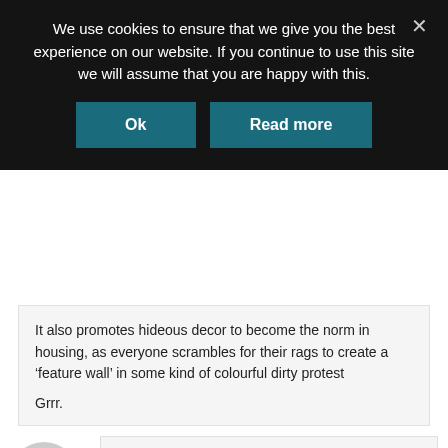We use cookies to ensure that we give you the best experience on our website. If you continue to use this site we will assume that you are happy with this.
Ok | Read more
It also promotes hideous decor to become the norm in housing, as everyone scrambles for their rags to create a ‘feature wall’ in some kind of colourful dirty protest

Grrr.
ANGIE ROGERS  24TH AUGUST 2021 AT 12:24 AM  REPLY
Excellent blog and so bloody true, I couldn’t agree with you more, these shows completely cheapen our industry and make our creative professions seem like something anyone can...